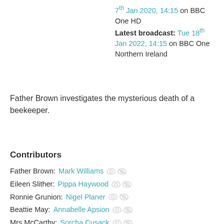7th Jan 2020, 14:15 on BBC One HD
Latest broadcast: Tue 18th Jan 2022, 14:15 on BBC One Northern Ireland
Father Brown investigates the mysterious death of a beekeeper.
Contributors
Father Brown: Mark Williams
Eileen Slither: Pippa Haywood
Ronnie Grunion: Nigel Planer
Beattie May: Annabelle Apsion
Mrs McCarthy: Sorcha Cusack
Bunty: Emer Kenny
Inspector Mallory: Jack Deam
Sergeant Goodfellow: John Burton